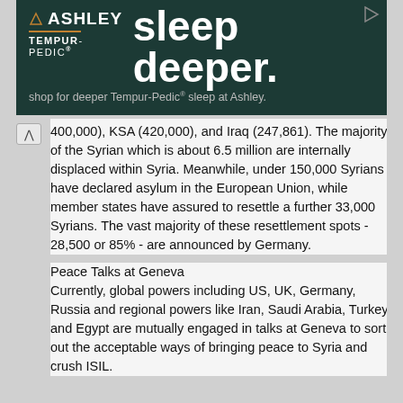[Figure (other): Ashley Tempur-Pedic advertisement banner with dark green background. Text reads: ASHLEY, TEMPUR-PEDIC, sleep deeper. shop for deeper Tempur-Pedic sleep at Ashley.]
400,000), KSA (420,000), and Iraq (247,861). The majority of the Syrian which is about 6.5 million are internally displaced within Syria. Meanwhile, under 150,000 Syrians have declared asylum in the European Union, while member states have assured to resettle a further 33,000 Syrians. The vast majority of these resettlement spots - 28,500 or 85% - are announced by Germany.
Peace Talks at Geneva
Currently, global powers including US, UK, Germany, Russia and regional powers like Iran, Saudi Arabia, Turkey and Egypt are mutually engaged in talks at Geneva to sort out the acceptable ways of bringing peace to Syria and crush ISIL.
Rising China
Effective yet Peaceful Rise
Keeping itself abreast with the commandments of Mao Zedong and the necessities of the transforming world, China is rising effectively yet peacefully.
Unipolar World
End of Cold War cemented a unipolar world with the USA as its sole hegemon who had technological, economic and military